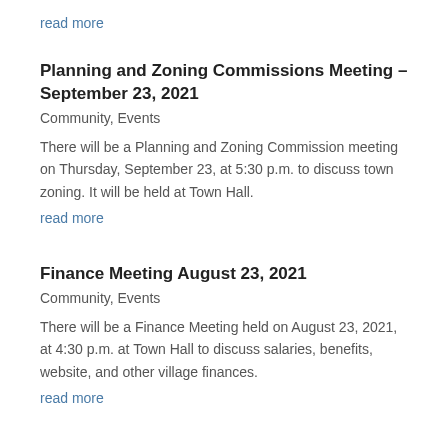read more
Planning and Zoning Commissions Meeting – September 23, 2021
Community, Events
There will be a Planning and Zoning Commission meeting on Thursday, September 23, at 5:30 p.m. to discuss town zoning.  It will be held at Town Hall.
read more
Finance Meeting August 23, 2021
Community, Events
There will be a Finance Meeting held on August 23, 2021, at 4:30 p.m. at Town Hall to discuss salaries, benefits, website, and other village finances.
read more